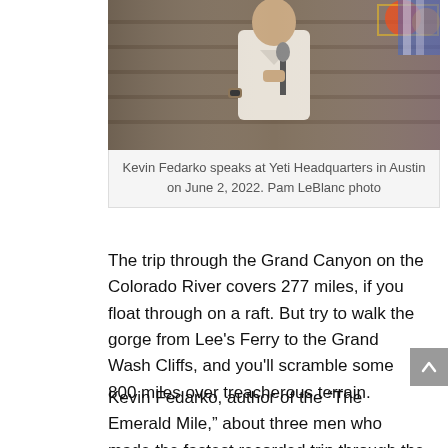[Figure (photo): Kevin Fedarko speaks at Yeti Headquarters in Austin on June 2, 2022. A man in a white short-sleeve shirt holding a microphone on stage in front of a wooden panel backdrop.]
Kevin Fedarko speaks at Yeti Headquarters in Austin on June 2, 2022. Pam LeBlanc photo
The trip through the Grand Canyon on the Colorado River covers 277 miles, if you float through on a raft. But try to walk the gorge from Lee's Ferry to the Grand Wash Cliffs, and you'll scramble some 800 miles over treacherous terrain.
Kevin Fedarko, author of the "The Emerald Mile," about three men who made the fastest recorded trip through the Grand Canyon during a flood in 1983, is working on a new book about that journey.